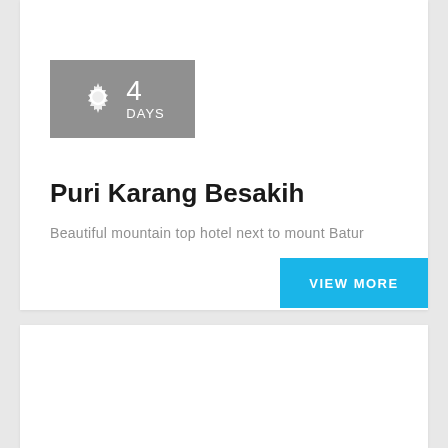[Figure (infographic): Grey badge with gear icon, number 4 and text DAYS]
Puri Karang Besakih
Beautiful mountain top hotel next to mount Batur
VIEW MORE